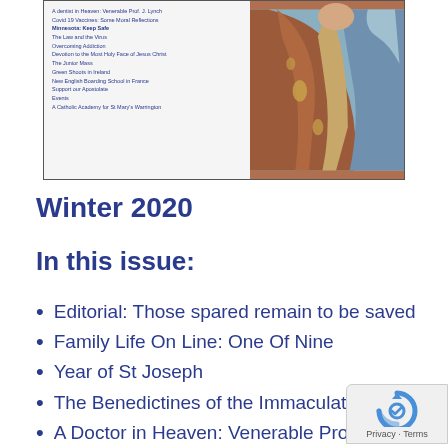[Figure (photo): Magazine cover showing a religious statue (St Joseph) detail in red and blue robes with gold decorations, with a list of article titles on the left side in blue text on light background]
Winter 2020
In this issue:
Editorial: Those spared remain to be saved
Family Life On Line: One Of Nine
Year of St Joseph
The Benedictines of the Immaculate
A Doctor in Heaven: Venerable Prof J.